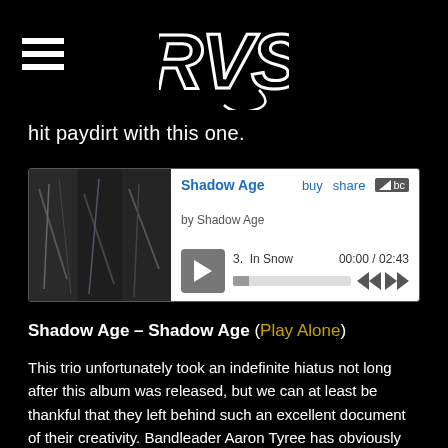RVS logo with hamburger menu
hit paydirt with this one.
[Figure (screenshot): Bandcamp embedded music player for Shadow Age - Shadow Age album, showing album art, track 3 In Snow, timestamp 00:00 / 02:43, play button, progress bar and navigation controls]
Shadow Age – Shadow Age (Play Alone)
This trio unfortunately took an indefinite hiatus not long after this album was released, but we can at least be thankful that they left behind such an excellent document of their creativity. Bandleader Aaron Tyree has obviously been influenced by the saddest goth boys of the early 80s UK, and he brings the spirits of Robert Smith, Ian McCulloch, and Adrian Borland into the 21st century with